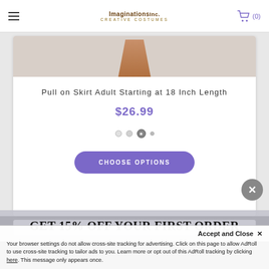Imaginations Inc. Creative Costumes | (0)
[Figure (screenshot): Product page for Pull on Skirt Adult Starting at 18 Inch Length, showing partial skirt image at top, price $26.99, image carousel dots, and CHOOSE OPTIONS button]
Pull on Skirt Adult Starting at 18 Inch Length
$26.99
CHOOSE OPTIONS
[Figure (infographic): GET 15% OFF YOUR FIRST ORDER promotional banner]
Accept and Close ✕
Your browser settings do not allow cross-site tracking for advertising. Click on this page to allow AdRoll to use cross-site tracking to tailor ads to you. Learn more or opt out of this AdRoll tracking by clicking here. This message only appears once.